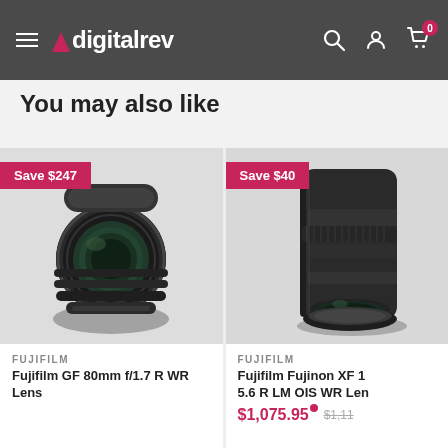digitalrev — navigation bar with hamburger menu, search, account, and cart (0 items) icons
You may also like
[Figure (photo): Fujifilm GF 80mm f/1.7 R WR Lens product photo — black camera lens on light grey background with 'Save $247' badge]
FUJIFILM
Fujifilm GF 80mm f/1.7 R WR Lens
[Figure (photo): Fujifilm Fujinon XF lens product photo — black camera lens on light grey background with 'Save $40' badge]
FUJIFILM
Fujifilm Fujinon XF 5.6 R LM OIS WR Lens
$1,075.95  $1,11...